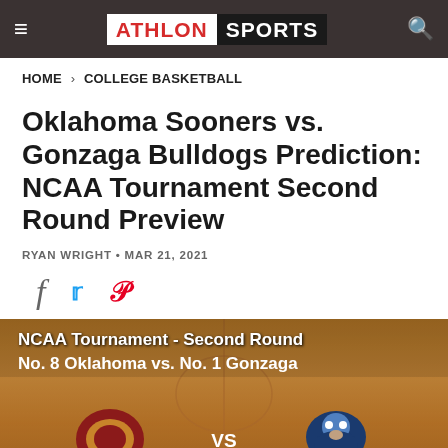ATHLON SPORTS
HOME › COLLEGE BASKETBALL
Oklahoma Sooners vs. Gonzaga Bulldogs Prediction: NCAA Tournament Second Round Preview
RYAN WRIGHT • MAR 21, 2021
[Figure (infographic): Social sharing icons: Facebook (f), Twitter (bird), Pinterest (P)]
[Figure (photo): Basketball court photo with overlay text: NCAA Tournament - Second Round, No. 8 Oklahoma vs. No. 1 Gonzaga, featuring Oklahoma Sooners O logo and Gonzaga Bulldogs logo with VS text in between]